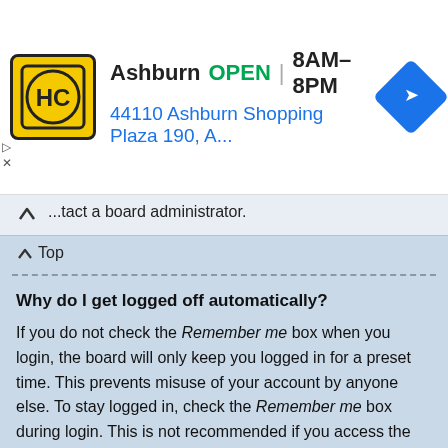[Figure (logo): HC (Honest-1 Auto Care) logo ad banner: yellow square logo with HC letters in black circle, Ashburn OPEN 8AM-8PM, 44110 Ashburn Shopping Plaza 190, A...]
...tact a board administrator.
↑Top
Why do I get logged off automatically?
If you do not check the Remember me box when you login, the board will only keep you logged in for a preset time. This prevents misuse of your account by anyone else. To stay logged in, check the Remember me box during login. This is not recommended if you access the board from a shared computer, e.g. library, internet cafe, university computer lab, etc. If you do not see this checkbox, it means a board administrator has disabled this feature.
↑Top